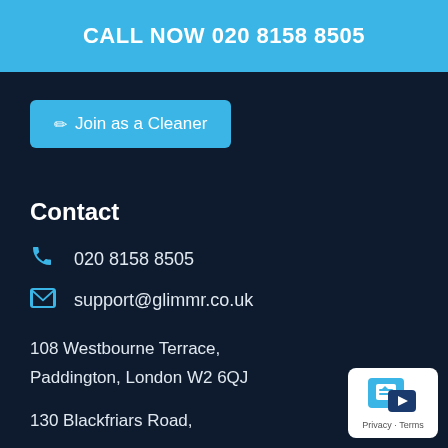CALL NOW 020 8158 8505
✏ Join as a Cleaner
Contact
020 8158 8505
support@glimmr.co.uk
108 Westbourne Terrace,
Paddington, London W2 6QJ
130 Blackfriars Road,
[Figure (logo): Privacy - Terms badge with blue shield/document icon]